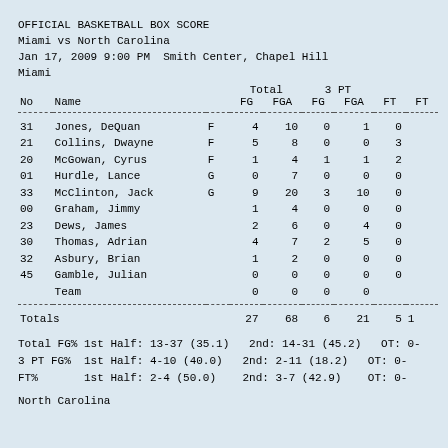OFFICIAL BASKETBALL BOX SCORE
Miami vs North Carolina
Jan 17, 2009 9:00 PM  Smith Center, Chapel Hill
Miami
| No | Name |  | FG | FGA | FG | FGA | FT | FT |
| --- | --- | --- | --- | --- | --- | --- | --- | --- |
| 31 | Jones, DeQuan | F | 4 | 10 | 0 | 1 | 0 |  |
| 21 | Collins, Dwayne | F | 5 | 8 | 0 | 0 | 3 |  |
| 20 | McGowan, Cyrus | F | 1 | 4 | 1 | 1 | 2 |  |
| 01 | Hurdle, Lance | G | 0 | 7 | 0 | 0 | 0 |  |
| 33 | McClinton, Jack | G | 9 | 20 | 3 | 10 | 0 |  |
| 00 | Graham, Jimmy |  | 1 | 4 | 0 | 0 | 0 |  |
| 23 | Dews, James |  | 2 | 6 | 0 | 4 | 0 |  |
| 30 | Thomas, Adrian |  | 4 | 7 | 2 | 5 | 0 |  |
| 32 | Asbury, Brian |  | 1 | 2 | 0 | 0 | 0 |  |
| 45 | Gamble, Julian |  | 0 | 0 | 0 | 0 | 0 |  |
|  | Team |  | 0 | 0 | 0 | 0 |  |  |
|  | Totals |  | 27 | 68 | 6 | 21 | 5 | 1 |
Total FG% 1st Half: 13-37 (35.1)    2nd: 14-31 (45.2)    OT: 0-
3 PT FG%  1st Half: 4-10 (40.0)    2nd: 2-11 (18.2)    OT: 0-
FT%       1st Half: 2-4 (50.0)     2nd: 3-7 (42.9)     OT: 0-
North Carolina